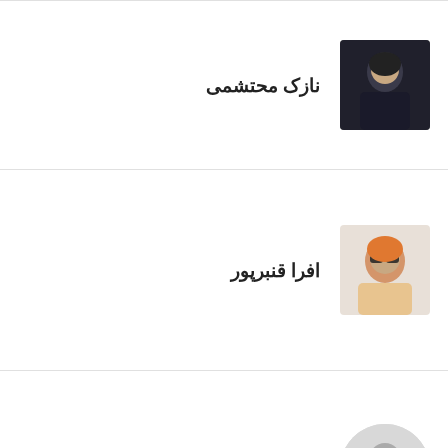[Figure (photo): Profile photo of نازک محتشمی – woman in dark clothing]
نازک محتشمی
[Figure (photo): Profile photo of افرا قنبرپور – woman with orange headscarf and sunglasses]
افرا قنبرپور
[Figure (photo): Default avatar placeholder for آذین فلاحی]
آذین فلاحی
[Figure (photo): Profile photo of دکتر فاطمه قائم – older woman with green headscarf]
دکتر فاطمه قائم...